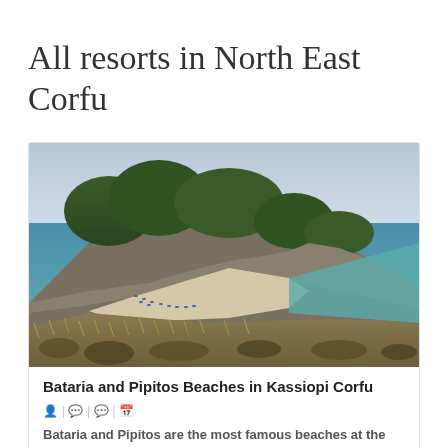All resorts in North East Corfu
[Figure (photo): Aerial view of Bataria and Pipitos beaches in Kassiopi, Corfu — a rocky forested headland with a small cove beach and sun loungers, turquoise sea on the right, dry scrubland in the foreground.]
Bataria and Pipitos Beaches in Kassiopi Corfu
Bataria and Pipitos are the most famous beaches at the